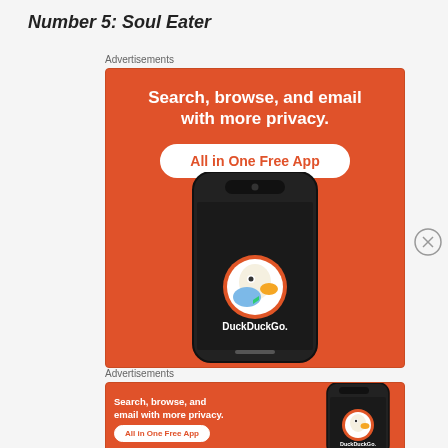Number 5: Soul Eater
[Figure (screenshot): DuckDuckGo advertisement - square format. Orange background with white bold text: 'Search, browse, and email with more privacy.' White pill button with orange text: 'All in One Free App'. Phone mockup showing DuckDuckGo app icon and name.]
[Figure (screenshot): DuckDuckGo advertisement - horizontal banner. Orange background with white bold text: 'Search, browse, and email with more privacy.' White pill button: 'All in One Free App'. Phone mockup on the right side.]